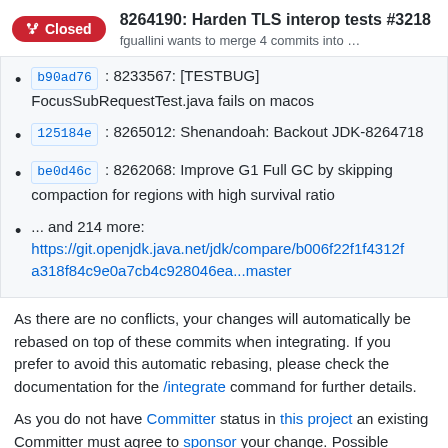8264190: Harden TLS interop tests #3218 — fguallini wants to merge 4 commits into …
b90ad76 : 8233567: [TESTBUG] FocusSubRequestTest.java fails on macos
125184e : 8265012: Shenandoah: Backout JDK-8264718
be0d46c : 8262068: Improve G1 Full GC by skipping compaction for regions with high survival ratio
... and 214 more: https://git.openjdk.java.net/jdk/compare/b006f22f1f4312fa318f84c9e0a7cb4c928046ea...master
As there are no conflicts, your changes will automatically be rebased on top of these commits when integrating. If you prefer to avoid this automatic rebasing, please check the documentation for the /integrate command for further details.
As you do not have Committer status in this project an existing Committer must agree to sponsor your change. Possible candidates are the reviewers of this PR (@rhalade) but any other Committer may sponsor as well.